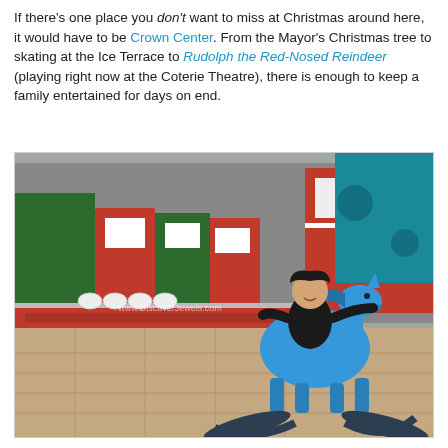If there's one place you don't want to miss at Christmas around here, it would have to be Crown Center. From the Mayor's Christmas tree to skating at the Ice Terrace to Rudolph the Red-Nosed Reindeer (playing right now at the Coterie Theatre), there is enough to keep a family entertained for days on end.
[Figure (photo): A child in a black hoodie sits on a large blue wooden rocking horse outdoors at Crown Center. In the background is a decorated Christmas train with green and red cars. The setting appears to be a plaza with stone tile flooring.]